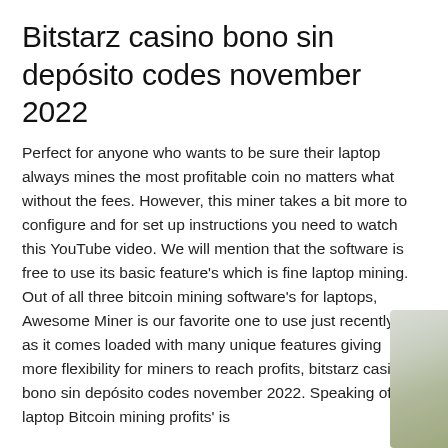Bitstarz casino bono sin depósito codes november 2022
Perfect for anyone who wants to be sure their laptop always mines the most profitable coin no matters what without the fees. However, this miner takes a bit more to configure and for set up instructions you need to watch this YouTube video. We will mention that the software is free to use its basic feature's which is fine laptop mining. Out of all three bitcoin mining software's for laptops, Awesome Miner is our favorite one to use just recently as it comes loaded with many unique features giving more flexibility for miners to reach profits, bitstarz casino bono sin depósito codes november 2022. Speaking of laptop Bitcoin mining profits' is